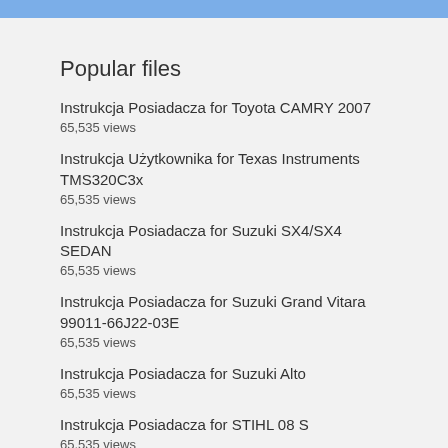Popular files
Instrukcja Posiadacza for Toyota CAMRY 2007
65,535 views
Instrukcja Użytkownika for Texas Instruments TMS320C3x
65,535 views
Instrukcja Posiadacza for Suzuki SX4/SX4 SEDAN
65,535 views
Instrukcja Posiadacza for Suzuki Grand Vitara 99011-66J22-03E
65,535 views
Instrukcja Posiadacza for Suzuki Alto
65,535 views
Instrukcja Posiadacza for STIHL 08 S
65,535 views
Instrukcja Posiadacza for STIHL FS 86